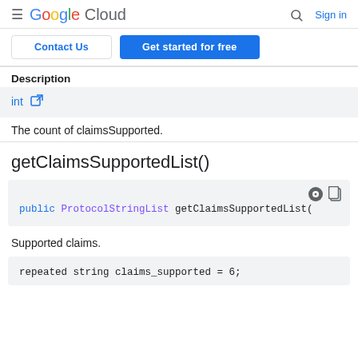Google Cloud — Search — Sign in
Contact Us | Get started for free
Description
int [external link]
The count of claimsSupported.
getClaimsSupportedList()
public ProtocolStringList getClaimsSupportedList(
Supported claims.
repeated string claims_supported = 6;